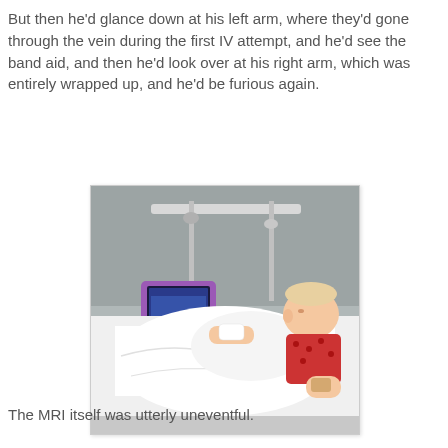But then he'd glance down at his left arm, where they'd gone through the vein during the first IV attempt, and he'd see the band aid, and then he'd look over at his right arm, which was entirely wrapped up, and he'd be furious again.
[Figure (photo): A young child (toddler) lying in a hospital bed covered with white sheets, wearing a red patterned outfit. A tablet/iPad in a purple case is propped up near the child's left side. The child has bandaging/IV wrap on one arm. Hospital bed rails and equipment visible in the background.]
The MRI itself was utterly uneventful.